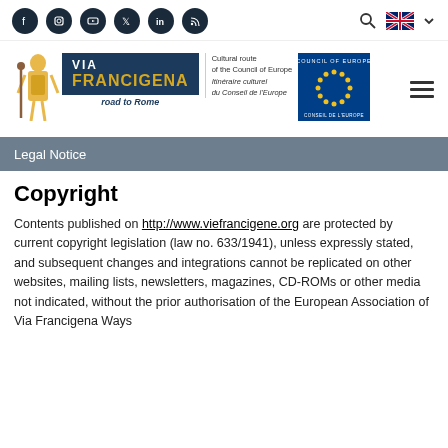[Figure (logo): Via Francigena website header with social media icons (Facebook, Instagram, YouTube, Twitter, LinkedIn, RSS), search icon, UK flag language selector, and hamburger menu. Via Francigena logo with pilgrim figure, dark blue text block, cultural route text, and Council of Europe logo.]
Legal Notice
Copyright
Contents published on http://www.viefrancigene.org are protected by current copyright legislation (law no. 633/1941), unless expressly stated, and subsequent changes and integrations cannot be replicated on other websites, mailing lists, newsletters, magazines, CD-ROMs or other media not indicated, without the prior authorisation of the European Association of Via Francigena Ways